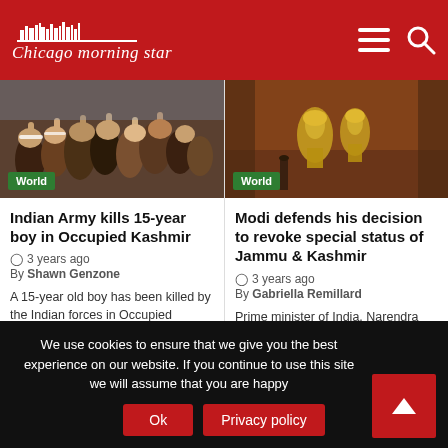Chicago morning star
[Figure (photo): Protest crowd scene with people raising fists, 'World' category badge overlay]
[Figure (photo): Interior government/parliament setting with golden statues, 'World' category badge overlay]
Indian Army kills 15-year boy in Occupied Kashmir
3 years ago
By Shawn Genzone

A 15-year old boy has been killed by the Indian forces in Occupied Kashmir. According to Kashmir Media Service, Indian …
Modi defends his decision to revoke special status of Jammu & Kashmir
3 years ago
By Gabriella Remillard

Prime minister of India, Narendra Modi, has talked to the state media in which he defended his decision to
We use cookies to ensure that we give you the best experience on our website. If you continue to use this site we will assume that you are happy